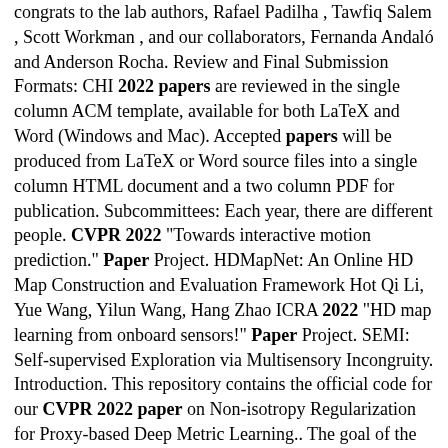congrats to the lab authors, Rafael Padilha , Tawfiq Salem , Scott Workman , and our collaborators, Fernanda Andaló and Anderson Rocha. Review and Final Submission Formats: CHI 2022 papers are reviewed in the single column ACM template, available for both LaTeX and Word (Windows and Mac). Accepted papers will be produced from LaTeX or Word source files into a single column HTML document and a two column PDF for publication. Subcommittees: Each year, there are different people. CVPR 2022 "Towards interactive motion prediction." Paper Project. HDMapNet: An Online HD Map Construction and Evaluation Framework Hot Qi Li, Yue Wang, Yilun Wang, Hang Zhao ICRA 2022 "HD map learning from onboard sensors!" Paper Project. SEMI: Self-supervised Exploration via Multisensory Incongruity. Introduction. This repository contains the official code for our CVPR 2022 paper on Non-isotropy Regularization for Proxy-based Deep Metric Learning.. The goal of the proposed approach is to encourage improved resolution of intraclass structures in proxy-based Deep Metric Learning, and enforce feature-richer representation spaces to be captured while retaining the fast convergence benefits of .... Computer vision (CV) researchers and engineers from all over the world will be gathering virtually for the 2020 Conference on Computer Vision and Pattern Recognition (CVPR) from June 14 to June 19, 2020. Facebook AI researchers, as well as researchers in AR/VR, will be presenting research via presentations, hosting tutorials, speaking in. The 10 Coolest Papers from CVPR 2019. The 2019 Conference on Computer